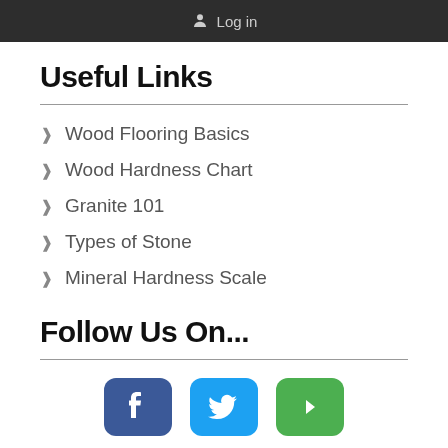Log in
Useful Links
Wood Flooring Basics
Wood Hardness Chart
Granite 101
Types of Stone
Mineral Hardness Scale
Follow Us On...
[Figure (illustration): Social media icons: Facebook (blue), Twitter (light blue), Google+ or similar (green)]